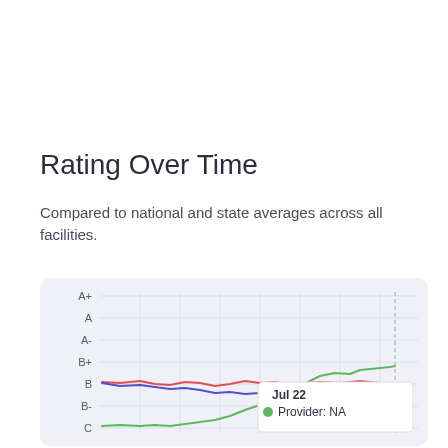Rating Over Time
Compared to national and state averages across all facilities.
[Figure (line-chart): Line chart showing rating over time for a provider (green), national average (red), and state average (blue). Y-axis labels: A+, A, A-, B+, B, B-, C. Provider line starts around C, rises sharply to near B+. National and state averages stay near B. Tooltip shows Jul 22 with Provider: NA.]